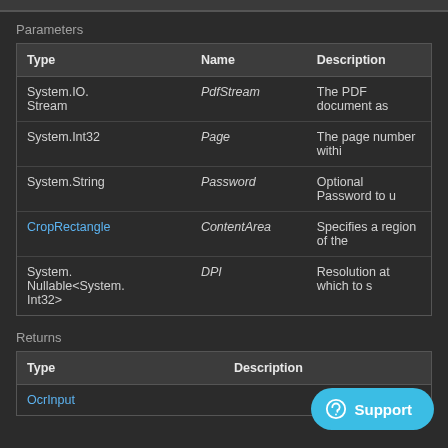Parameters
| Type | Name | Description |
| --- | --- | --- |
| System.IO.Stream | PdfStream | The PDF document as |
| System.Int32 | Page | The page number withi |
| System.String | Password | Optional Password to u |
| CropRectangle | ContentArea | Specifies a region of the |
| System.Nullable<System.Int32> | DPI | Resolution at which to s |
Returns
| Type | Description |
| --- | --- |
| OcrInput |  |